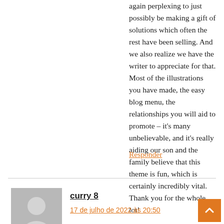again perplexing to just possibly be making a gift of solutions which often the rest have been selling. And we also realize we have the writer to appreciate for that. Most of the illustrations you have made, the easy blog menu, the relationships you will aid to promote – it's many unbelievable, and it's really aiding our son and the family believe that this theme is fun, which is certainly incredibly vital. Thank you for the whole lot!
Responder
[Figure (illustration): Gray avatar icon showing a silhouette of a person]
curry 8
17 de julho de 2022 às 20:50
I really wanted to develop a simple note so to say thanks to you for all the fabulous strategies you are sharing here. My time